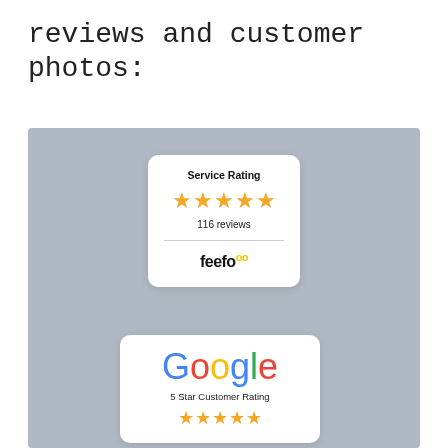reviews and customer photos:
[Figure (screenshot): Feefo Service Rating widget showing 5 gold stars and 116 reviews]
[Figure (logo): Google logo with 5 Star Customer Rating text and 5 gold stars]